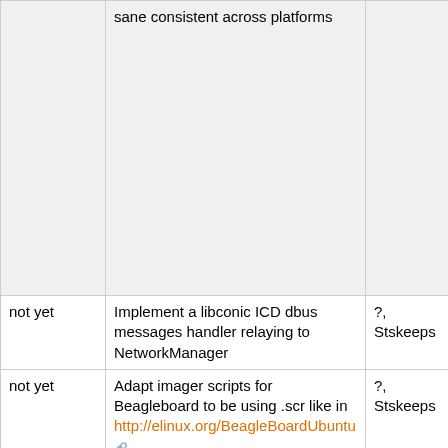| Status | Task | Owner |
| --- | --- | --- |
|  | sane consistent across platforms |  |
| not yet | Implement a libconic ICD dbus messages handler relaying to NetworkManager | ?, Stskeeps |
| not yet | Adapt imager scripts for Beagleboard to be using .scr like in http://elinux.org/BeagleBoardUbuntu | ?, Stskeeps |
| not yet | Implement an installer within Mer/N8x0 which uses Maemo update repositories to download HW support, battery and sound and install associated applets/support packages | qwerty12, Stskeeps |
| not yet | Include patch from MB2249 in Mer kernels | ?, qwerty12 |
| not yet | Include patch from MB2504 in cx3110x-module-src and rebuild cx3110x-module | ?, Stskeeps |